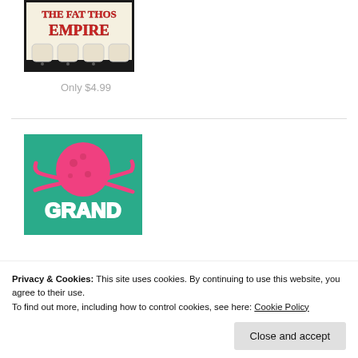[Figure (illustration): Partial view of a product image showing stylized text 'THE FAT THOS EMPIRE' in red letters on a light background with decorative marshmallow-like shapes at the bottom, on a dark border]
Only $4.99
[Figure (illustration): A teal/green background product image showing a pink cartoon octopus above the word 'GRAND' in large white outlined letters, with tentacles visible at the bottom]
Privacy & Cookies: This site uses cookies. By continuing to use this website, you agree to their use.
To find out more, including how to control cookies, see here: Cookie Policy